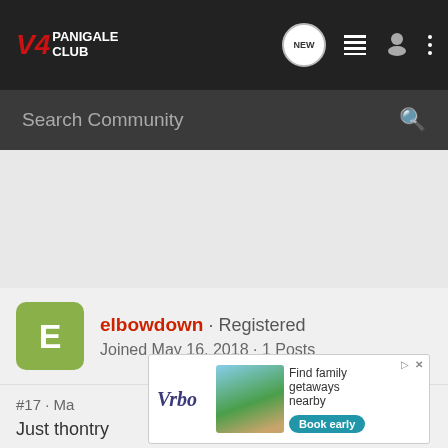V4 Panigale Club — navigation bar with NEW, list, user, and more icons
Search Community
[Figure (other): Gray advertisement placeholder area]
elbowdown · Registered
Joined May 16, 2018 · 1 Posts
#17 · Ma...
Just tho...ntry
[Figure (other): Vrbo advertisement banner: Find family getaways nearby, Book early button]